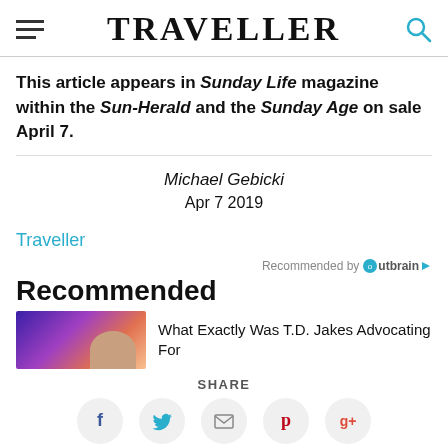TRAVELLER
This article appears in Sunday Life magazine within the Sun-Herald and the Sunday Age on sale April 7.
Michael Gebicki
Apr 7 2019
Traveller
Recommended by Outbrain
Recommended
What Exactly Was T.D. Jakes Advocating For
SHARE